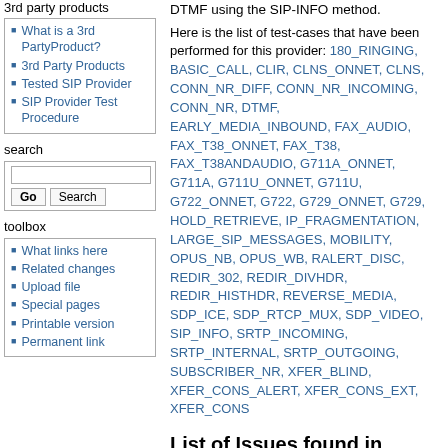3rd party products
What is a 3rd PartyProduct?
3rd Party Products
Tested SIP Provider
SIP Provider Test Procedure
search
toolbox
What links here
Related changes
Upload file
Special pages
Printable version
Permanent link
DTMF using the SIP-INFO method.
Here is the list of test-cases that have been performed for this provider: 180_RINGING, BASIC_CALL, CLIR, CLNS_ONNET, CLNS, CONN_NR_DIFF, CONN_NR_INCOMING, CONN_NR, DTMF, EARLY_MEDIA_INBOUND, FAX_AUDIO, FAX_T38_ONNET, FAX_T38, FAX_T38ANDAUDIO, G711A_ONNET, G711A, G711U_ONNET, G711U, G722_ONNET, G722, G729_ONNET, G729, HOLD_RETRIEVE, IP_FRAGMENTATION, LARGE_SIP_MESSAGES, MOBILITY, OPUS_NB, OPUS_WB, RALERT_DISC, REDIR_302, REDIR_DIVHDR, REDIR_HISTHDR, REVERSE_MEDIA, SDP_ICE, SDP_RTCP_MUX, SDP_VIDEO, SIP_INFO, SRTP_INCOMING, SRTP_INTERNAL, SRTP_OUTGOING, SUBSCRIBER_NR, XFER_BLIND, XFER_CONS_ALERT, XFER_CONS_EXT, XFER_CONS
List of Issues found in media-relay Configuration
This section lists the results that differ from the results for the first configuration.